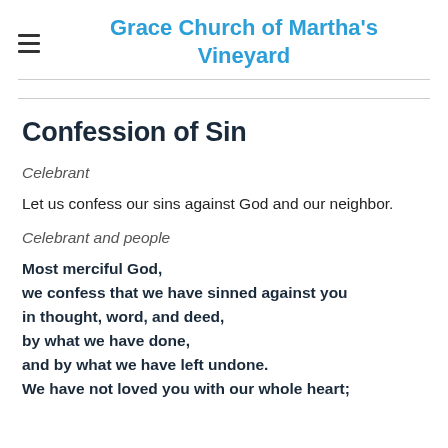Grace Church of Martha's Vineyard
Confession of Sin
Celebrant
Let us confess our sins against God and our neighbor.
Celebrant and people
Most merciful God,
we confess that we have sinned against you
in thought, word, and deed,
by what we have done,
and by what we have left undone.
We have not loved you with our whole heart;